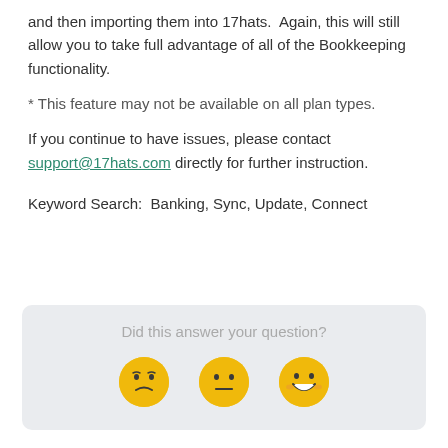and then importing them into 17hats.  Again, this will still allow you to take full advantage of all of the Bookkeeping functionality.
* This feature may not be available on all plan types.
If you continue to have issues, please contact support@17hats.com directly for further instruction.
Keyword Search:  Banking, Sync, Update, Connect
[Figure (infographic): Feedback widget with question 'Did this answer your question?' and three emoji faces: sad, neutral, and happy.]